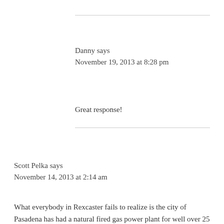Danny says
November 19, 2013 at 8:28 pm
Great response!
Scott Pelka says
November 14, 2013 at 2:14 am
What everybody in Rexcaster fails to realize is the city of Pasadena has had a natural fired gas power plant for well over 25 years in a